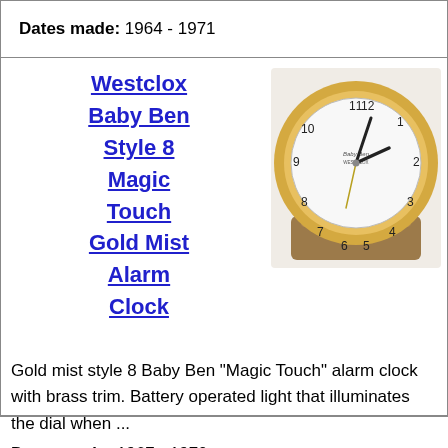Dates made: 1964 - 1971
Westclox Baby Ben Style 8 Magic Touch Gold Mist Alarm Clock
[Figure (photo): Photograph of a Westclox Baby Ben Style 8 Magic Touch Gold Mist Alarm Clock with brass trim and wooden base.]
Gold mist style 8 Baby Ben "Magic Touch" alarm clock with brass trim. Battery operated light that illuminates the dial when ...
Dates made: 1967 - 1970